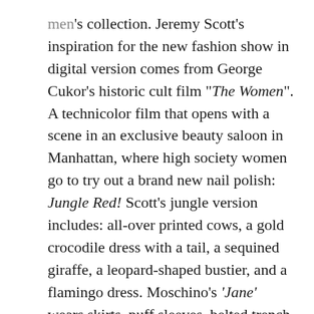men's collection. Jeremy Scott's inspiration for the new fashion show in digital version comes from George Cukor's historic cult film "The Women". A technicolor film that opens with a scene in an exclusive beauty saloon in Manhattan, where high society women go to try out a brand new nail polish: Jungle Red! Scott's jungle version includes: all-over printed cows, a gold crocodile dress with a tail, a sequined giraffe, a leopard-shaped bustier, and a flamingo dress. Moschino's 'Jane' wears skirts, puff sleeves, belted trench coats, equipped with a safari kit that contains the must-haves of a woman's beauty case: brushes, combs, tweezers but also the iconic Moschino Teddy Bear. The show is opened by Hailey Bieber and closed by Dita Von Teese seductively showing side b